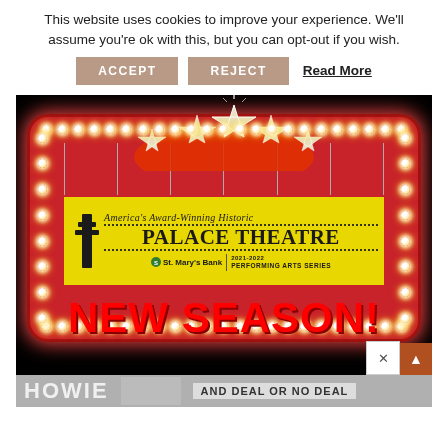This website uses cookies to improve your experience. We'll assume you're ok with this, but you can opt-out if you wish.
ACCEPT   REJECT   Read More
[Figure (illustration): Palace Theatre marquee sign with stars on top, yellow band reading 'America's Award-Winning Historic PALACE THEATRE St. Mary's Bank 2021-2022 Performing Arts Series', surrounded by red border with light bulbs, on black background. Large red text at bottom reads 'NEW SEASON!']
HOWIE   DEAL OR NO DEAL